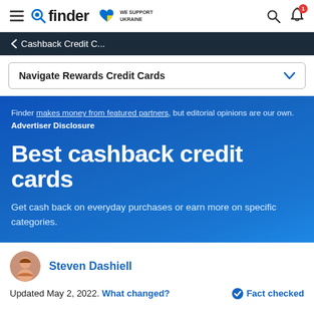finder — Navigate Rewards Credit Cards
< Cashback Credit C...
Navigate Rewards Credit Cards
Finder makes money from featured partners, but editorial opinions are our own. Advertiser Disclosure
Best cashback credit cards
Get cash back on everyday purchases or earn more on specific categories.
Steven Dashiell
Updated May 2, 2022. What changed? Fact checked